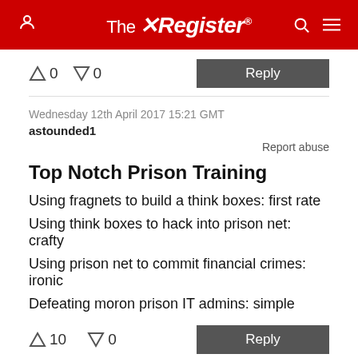The Register
↑0  ↓0   Reply
Wednesday 12th April 2017 15:21 GMT
astounded1
Report abuse
Top Notch Prison Training
Using fragnets to build a think boxes: first rate
Using think boxes to hack into prison net: crafty
Using prison net to commit financial crimes: ironic
Defeating moron prison IT admins: simple
↑10  ↓0   Reply
Wednesday 12th April 2017 15:48 GMT
DNTB